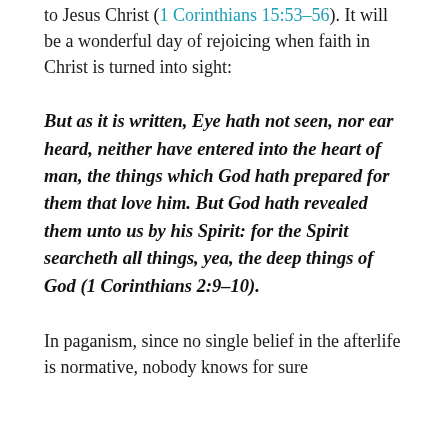to Jesus Christ (1 Corinthians 15:53–56). It will be a wonderful day of rejoicing when faith in Christ is turned into sight:
But as it is written, Eye hath not seen, nor ear heard, neither have entered into the heart of man, the things which God hath prepared for them that love him. But God hath revealed them unto us by his Spirit: for the Spirit searcheth all things, yea, the deep things of God (1 Corinthians 2:9–10).
In paganism, since no single belief in the afterlife is normative, nobody knows for sure